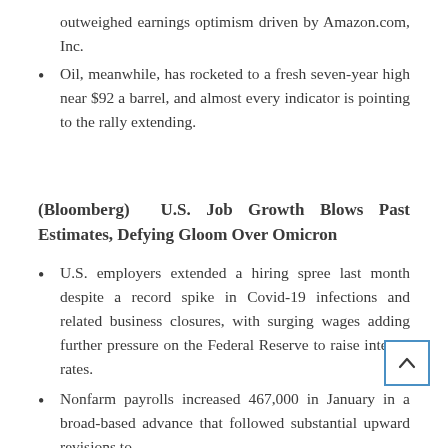outweighed earnings optimism driven by Amazon.com, Inc.
Oil, meanwhile, has rocketed to a fresh seven-year high near $92 a barrel, and almost every indicator is pointing to the rally extending.
(Bloomberg)  U.S. Job Growth Blows Past Estimates, Defying Gloom Over Omicron
U.S. employers extended a hiring spree last month despite a record spike in Covid-19 infections and related business closures, with surging wages adding further pressure on the Federal Reserve to raise interest rates.
Nonfarm payrolls increased 467,000 in January in a broad-based advance that followed substantial upward revisions to